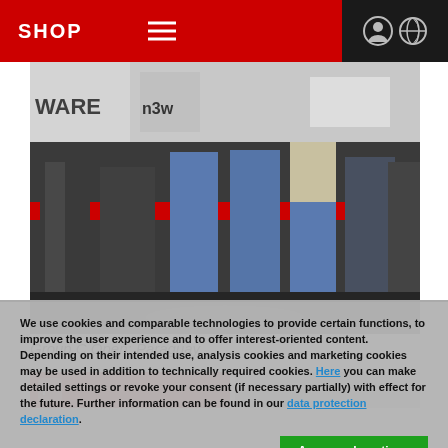SHOP
[Figure (photo): Group photo of several people standing on a stage in front of banners (WARE, hardware-related logos). The photo shows mostly the lower halves of the participants.]
Group C Open: Paraguay
[Figure (photo): Partial view of a second photo strip showing red and grey backgrounds.]
We use cookies and comparable technologies to provide certain functions, to improve the user experience and to offer interest-oriented content. Depending on their intended use, analysis cookies and marketing cookies may be used in addition to technically required cookies. Here you can make detailed settings or revoke your consent (if necessary partially) with effect for the future. Further information can be found in our data protection declaration.